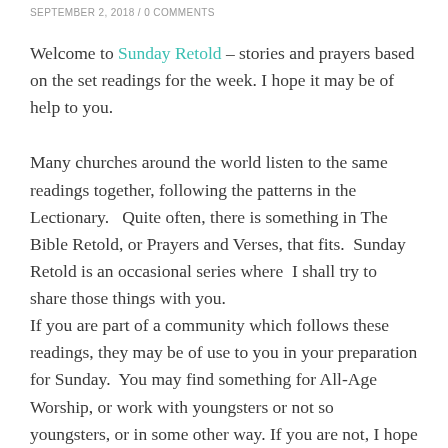SEPTEMBER 2, 2018 / 0 COMMENTS
Welcome to Sunday Retold – stories and prayers based on the set readings for the week.  I hope it may be of help to you.
Many churches around the world listen to the same readings together, following the patterns in the Lectionary.   Quite often, there is something in The Bible Retold, or Prayers and Verses, that fits.  Sunday Retold is an occasional series where  I shall try to share those things with you.
If you are part of a community which follows these readings, they may be of use to you in your preparation for Sunday.  You may find something for All-Age Worship, or work with youngsters or not so youngsters, or in some other way. If you are not, I hope you will find